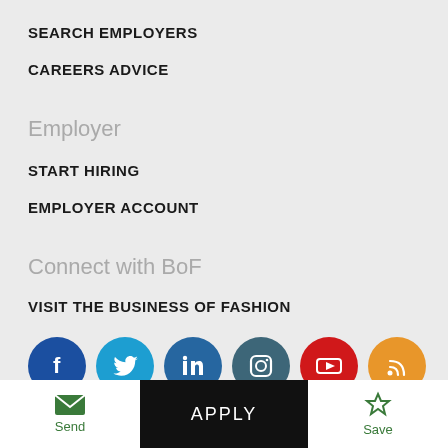SEARCH EMPLOYERS
CAREERS ADVICE
Employer
START HIRING
EMPLOYER ACCOUNT
Connect with BoF
VISIT THE BUSINESS OF FASHION
[Figure (other): Social media icons row: Facebook (dark blue), Twitter (light blue), LinkedIn (blue), Instagram (teal), YouTube (red), RSS (orange)]
Send  |  APPLY  |  Save